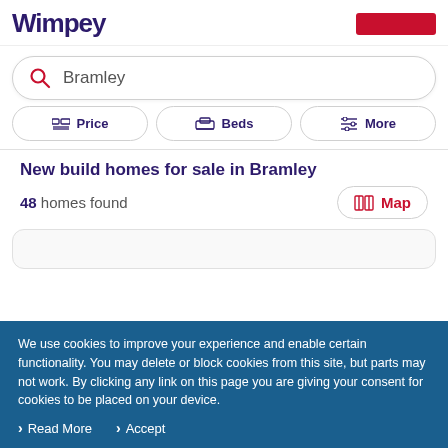Wimpey
Bramley (search input)
Price | Beds | More (filter buttons)
New build homes for sale in Bramley
48 homes found
Map
We use cookies to improve your experience and enable certain functionality. You may delete or block cookies from this site, but parts may not work. By clicking any link on this page you are giving your consent for cookies to be placed on your device.
Read More   Accept